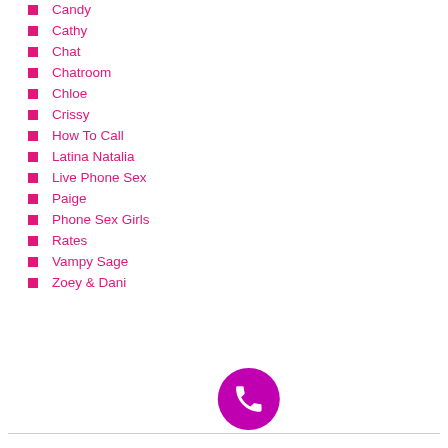Candy
Cathy
Chat
Chatroom
Chloe
Crissy
How To Call
Latina Natalia
Live Phone Sex
Paige
Phone Sex Girls
Rates
Vampy Sage
Zoey & Dani
[Figure (other): Circular magenta phone call button icon]